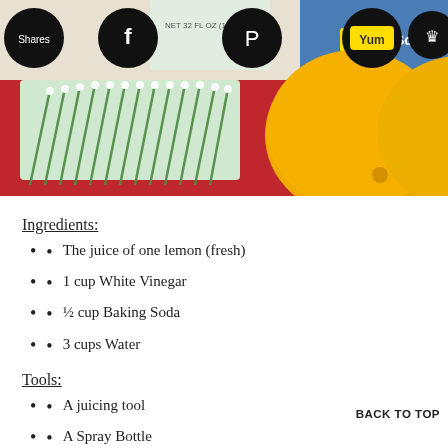[Figure (photo): Photo showing a scrubbing brush with white and green bristles lying on a red surface, two lemons, baking soda box, and other cleaning supplies. Social media sharing icons (Shares, Facebook, Pinterest, Yummly, crown) overlay the top of the image.]
Ingredients:
The juice of one lemon (fresh)
1 cup White Vinegar
½ cup Baking Soda
3 cups Water
Tools:
A juicing tool
A Spray Bottle